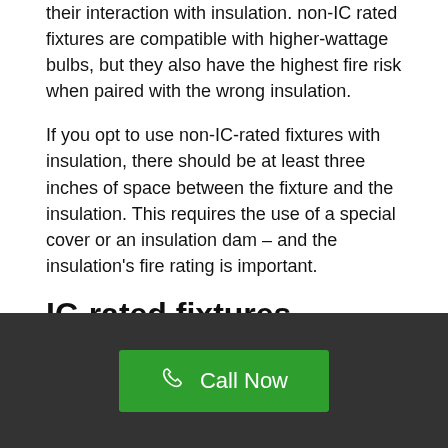their interaction with insulation. non-IC rated fixtures are compatible with higher-wattage bulbs, but they also have the highest fire risk when paired with the wrong insulation.
If you opt to use non-IC-rated fixtures with insulation, there should be at least three inches of space between the fixture and the insulation. This requires the use of a special cover or an insulation dam – and the insulation's fire rating is important.
IC-rated fixtures
IC-rated (insulation contact rating) fixtures are designed to be surrounded by insulation. However, to prevent the risk of fire, IC-rated recessed cans can
[Figure (other): Dark footer bar with a green 'Call Now' button featuring a phone icon]